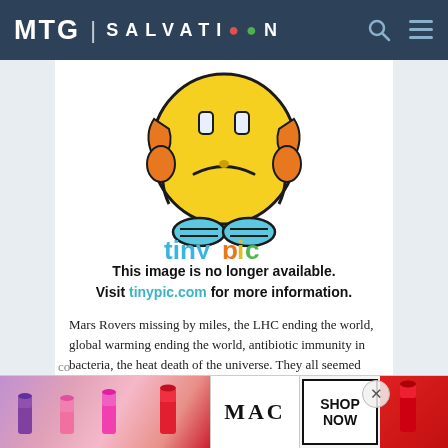MTG | SALVATION
[Figure (illustration): Tinypic.com broken image placeholder: sad yellow cartoon face with orange accents and blue feet, with 'tinypic' logo below in colorful text]
This image is no longer available. Visit tinypic.com for more information.
Mars Rovers missing by miles, the LHC ending the world, global warming ending the world, antibiotic immunity in bacteria, the heat death of the universe. They all seemed like big problems for the scientific
[Figure (advertisement): MAC cosmetics advertisement showing lipsticks with 'SHOP NOW' call to action]